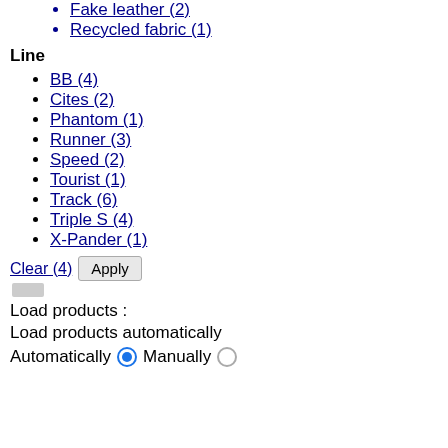Fake leather (2)
Recycled fabric (1)
Line
BB (4)
Cites (2)
Phantom (1)
Runner (3)
Speed (2)
Tourist (1)
Track (6)
Triple S (4)
X-Pander (1)
Clear (4)  Apply
Load products :
Load products automatically
Automatically  Manually